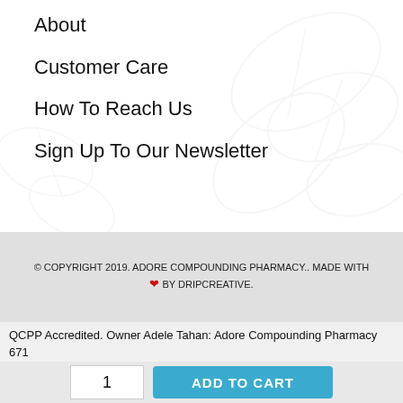About
Customer Care
How To Reach Us
Sign Up To Our Newsletter
© COPYRIGHT 2019. ADORE COMPOUNDING PHARMACY.. MADE WITH ❤ BY DRIPCREATIVE.
QCPP Accredited. Owner Adele Tahan: Adore Compounding Pharmacy 671 Darling St Rozelle. T: 02 9810 7349 F: 02 9810 6025
1
ADD TO CART